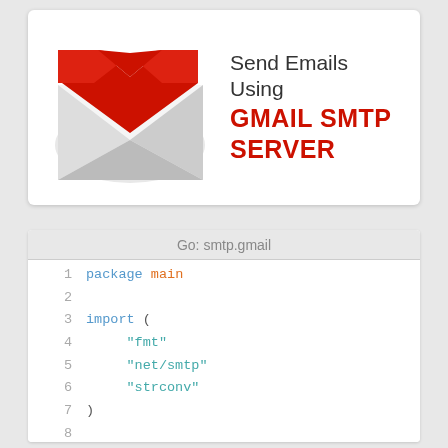[Figure (illustration): Gmail logo (red M envelope) on white card with text 'Send Emails Using GMAIL SMTP SERVER']
Send Emails Using
GMAIL SMTP SERVER
[Figure (screenshot): Go code editor showing smtp.gmail code with syntax highlighting. File named 'Go: smtp.gmail'. Lines 1-12 showing: package main, import ("fmt", "net/smtp", "strconv"), type EmailConfig struct { Username string, Password string, Host string]